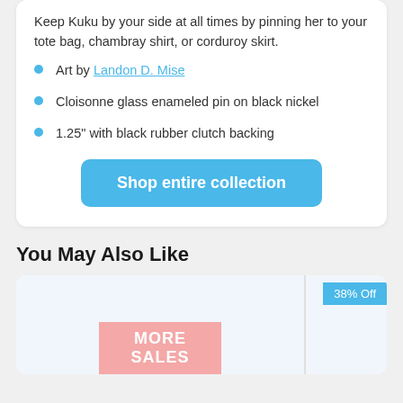Keep Kuku by your side at all times by pinning her to your tote bag, chambray shirt, or corduroy skirt.
Art by Landon D. Mise
Cloisonne glass enameled pin on black nickel
1.25" with black rubber clutch backing
Shop entire collection
You May Also Like
[Figure (other): Product card with 38% Off badge and MORE SALES text overlay on pink background]